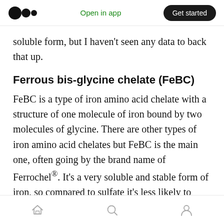Open in app | Get started
soluble form, but I haven't seen any data to back that up.
Ferrous bis-glycine chelate (FeBC)
FeBC is a type of iron amino acid chelate with a structure of one molecule of iron bound by two molecules of glycine. There are other types of iron amino acid chelates but FeBC is the main one, often going by the brand name of Ferrochel®. It's a very soluble and stable form of iron, so compared to sulfate it's less likely to cause irritation during digestion. It is still
Home | Search | Profile